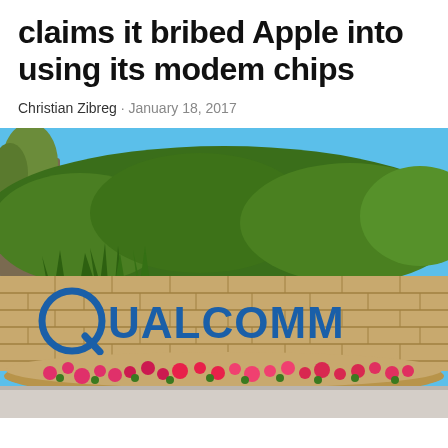claims it bribed Apple into using its modem chips
Christian Zibreg · January 18, 2017
[Figure (photo): Qualcomm corporate sign on a stone wall with green hedge landscaping and colorful flowers in front, blue sky background]